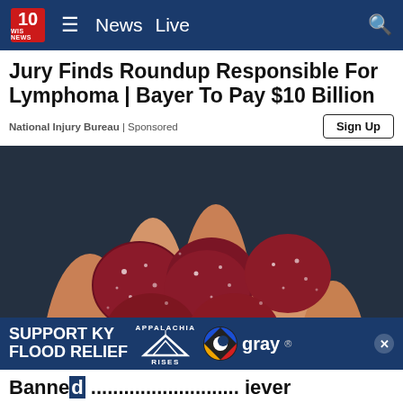10 WIS NEWS — News  Live
Jury Finds Roundup Responsible For Lymphoma | Bayer To Pay $10 Billion
National Injury Bureau | Sponsored
[Figure (photo): A hand holding several sugar-coated red gummy candies against a dark background]
SUPPORT KY FLOOD RELIEF  APPALACHIA RISES  gray
Banne...iever